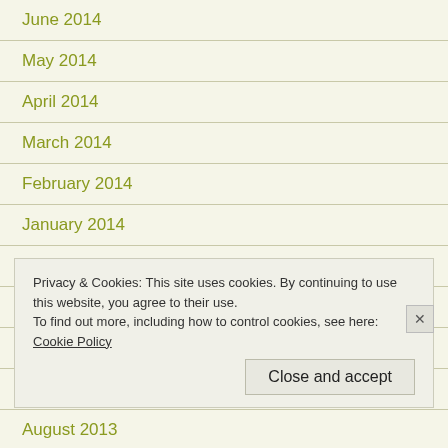June 2014
May 2014
April 2014
March 2014
February 2014
January 2014
December 2013
November 2013
October 2013
September 2013
August 2013
Privacy & Cookies: This site uses cookies. By continuing to use this website, you agree to their use. To find out more, including how to control cookies, see here: Cookie Policy
Close and accept